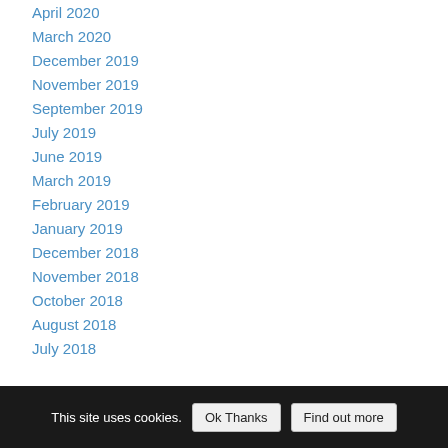April 2020
March 2020
December 2019
November 2019
September 2019
July 2019
June 2019
March 2019
February 2019
January 2019
December 2018
November 2018
October 2018
August 2018
July 2018
June 2018
May 2018
April 2018
March 2018
February 2018
January 2018
This site uses cookies.  Ok Thanks  Find out more